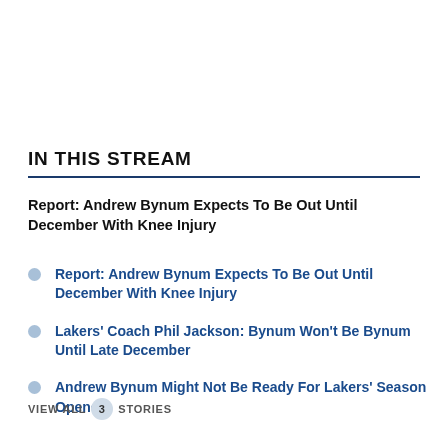IN THIS STREAM
Report: Andrew Bynum Expects To Be Out Until December With Knee Injury
Report: Andrew Bynum Expects To Be Out Until December With Knee Injury
Lakers' Coach Phil Jackson: Bynum Won't Be Bynum Until Late December
Andrew Bynum Might Not Be Ready For Lakers' Season Opener
VIEW ALL 3 STORIES